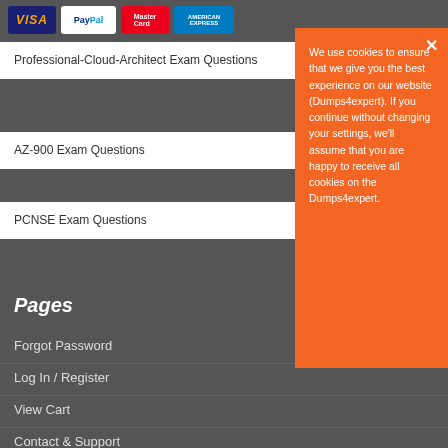[Figure (other): Payment method icons: VISA, PayPal, MasterCard, American Express at the top]
Professional-Cloud-Architect Exam Questions
AZ-900 Exam Questions
PCNSE Exam Questions
Pages
We use cookies to ensure that we give you the best experience on our website (Dumps4expert). If you continue without changing your settings, we'll assume that you are happy to receive all cookies on the Dumps4expert.
Forgot Password
Log In / Register
View Cart
Contact & Support